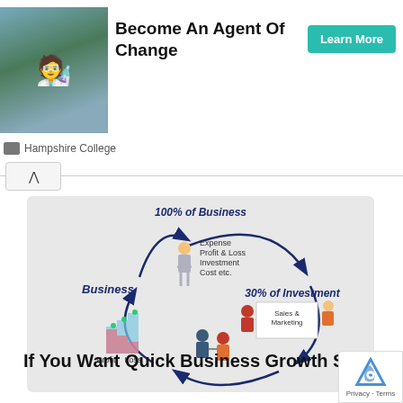[Figure (photo): Ad banner with person in lab coat holding blue item]
Become An Agent Of Change
Learn More
Hampshire College
[Figure (infographic): Business cycle infographic showing 100% of Business (Expense, Profit & Loss, Investment, Cost etc.), 30% of Investment (Sales & Marketing), Business (Profit and Loss staircase chart), with circular arrows connecting them]
If You Want Quick Business Growth Strategy Right Now & Quickly Want to Grow